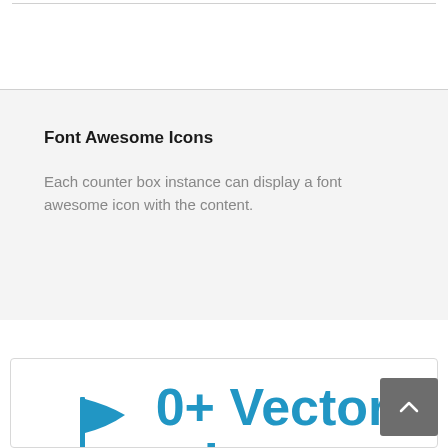Font Awesome Icons
Each counter box instance can display a font awesome icon with the content.
[Figure (infographic): A counter box with a blue flag icon followed by text '0+ Vector Icons' in large bold blue font, inside a white card with border.]